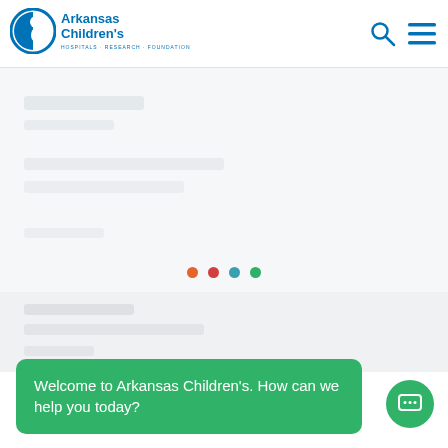[Figure (logo): Arkansas Children's logo with blue circle icon of child silhouette and text 'Arkansas Children's' with tagline 'HOSPITALS · RESEARCH · FOUNDATION']
[Figure (screenshot): Navigation header with search icon and hamburger menu icon on right side]
[Figure (infographic): Carousel slider region with four navigation dots (orange, red, teal, green)]
Welcome to Arkansas Children's. How can we help you today?